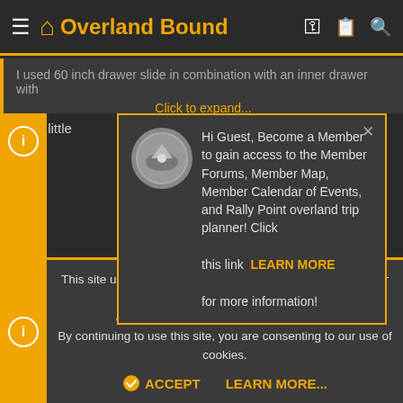Overland Bound
I used 60 inch drawer slide in combination with an inner drawer with
Click to expand...
Did a little ... rails for tie down p...
[Figure (screenshot): Popup modal: Hi Guest, Become a Member to gain access to the Member Forums, Member Map, Member Calendar of Events, and Rally Point overland trip planner! Click this link LEARN MORE for more information!]
This site uses cookies to help personalise content, tailor your experience and to keep you logged in if you register. By continuing to use this site, you are consenting to our use of cookies.
ACCEPT   LEARN MORE...